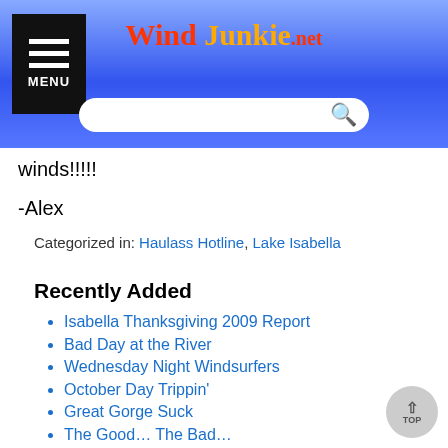Wind Junkie .net
winds!!!!!
-Alex
Categorized in: Haulass Hotline, Lake Isabella
Recently Added
Isabella Thanksgiving 2009 Report
Bad Day at the River
Wednesday Night Windsurfers
October Day Trippin'
Great Gorge Suck
The Good… The Bad…
Categories